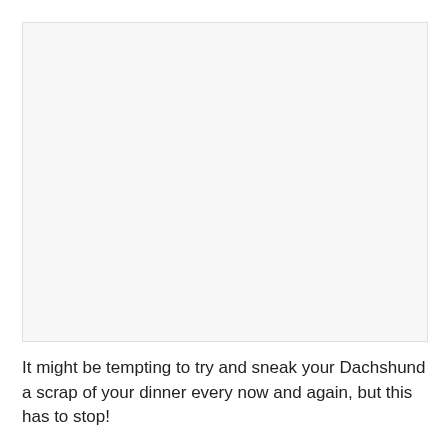[Figure (photo): A large blank/white image placeholder area]
It might be tempting to try and sneak your Dachshund a scrap of your dinner every now and again, but this has to stop!